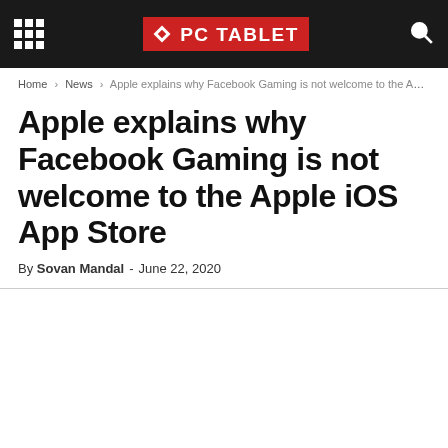PC TABLET
Home › News › Apple explains why Facebook Gaming is not welcome to the Apple iOS...
Apple explains why Facebook Gaming is not welcome to the Apple iOS App Store
By Sovan Mandal - June 22, 2020